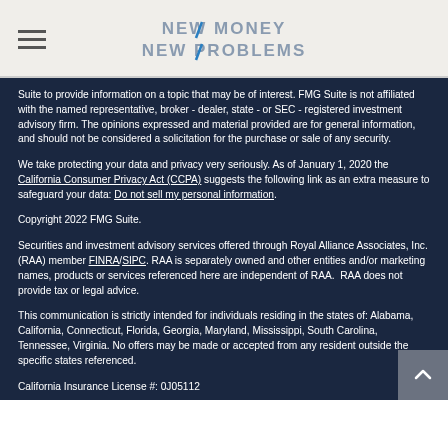NEW MONEY NEW PROBLEMS
Suite to provide information on a topic that may be of interest. FMG Suite is not affiliated with the named representative, broker - dealer, state - or SEC - registered investment advisory firm. The opinions expressed and material provided are for general information, and should not be considered a solicitation for the purchase or sale of any security.
We take protecting your data and privacy very seriously. As of January 1, 2020 the California Consumer Privacy Act (CCPA) suggests the following link as an extra measure to safeguard your data: Do not sell my personal information.
Copyright 2022 FMG Suite.
Securities and investment advisory services offered through Royal Alliance Associates, Inc. (RAA) member FINRA/SIPC. RAA is separately owned and other entities and/or marketing names, products or services referenced here are independent of RAA.  RAA does not provide tax or legal advice.
This communication is strictly intended for individuals residing in the states of: Alabama, California, Connecticut, Florida, Georgia, Maryland, Mississippi, South Carolina, Tennessee, Virginia. No offers may be made or accepted from any resident outside the specific states referenced.
California Insurance License #: 0J05112